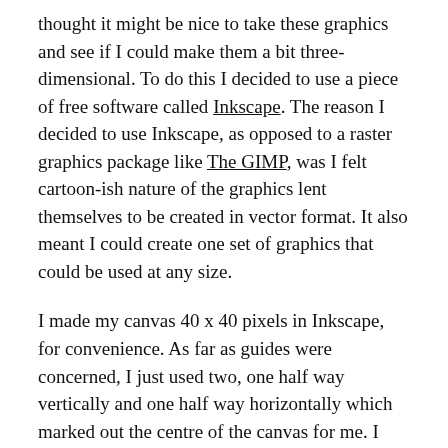thought it might be nice to take these graphics and see if I could make them a bit three-dimensional. To do this I decided to use a piece of free software called Inkscape. The reason I decided to use Inkscape, as opposed to a raster graphics package like The GIMP, was I felt cartoon-ish nature of the graphics lent themselves to be created in vector format. It also meant I could create one set of graphics that could be used at any size.
I made my canvas 40 x 40 pixels in Inkscape, for convenience. As far as guides were concerned, I just used two, one half way vertically and one half way horizontally which marked out the centre of the canvas for me. I imported the original graphics into Inkscape and used the Pen tool to trace over them. For each graphic, I created a separate Inkscape SVG (Scalable Vector Graphics) file.
As the...